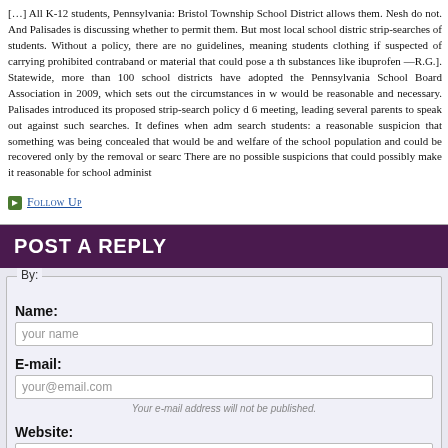[…] All K-12 students, Pennsylvania: Bristol Township School District allows them. Nesh do not. And Palisades is discussing whether to permit them. But most local school distric strip-searches of students. Without a policy, there are no guidelines, meaning students clothing if suspected of carrying prohibited contraband or material that could pose a th substances like ibuprofen —R.G.]. Statewide, more than 100 school districts have adopted the Pennsylvania School Board Association in 2009, which sets out the circumstances in w would be reasonable and necessary. Palisades introduced its proposed strip-search policy d 6 meeting, leading several parents to speak out against such searches. It defines when adm search students: a reasonable suspicion that something was being concealed that would be and welfare of the school population and could be recovered only by the removal or searc There are no possible suspicions that could possibly make it reasonable for school administ
Follow Up
POST A REPLY
By:
Name:
your name
E-mail:
your@email.com
Your e-mail address will not be published.
Website:
URL
You can register for an account and sign in to verify your ide
Sign in with O